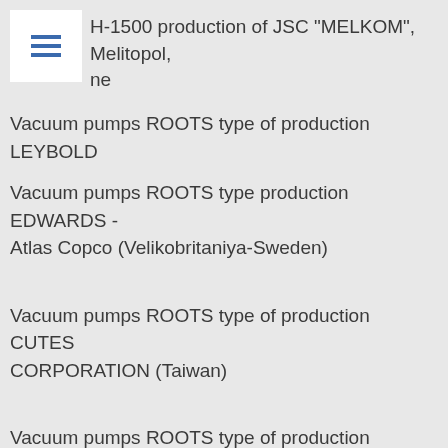H-1500 production of JSC "MELKOM", Melitopol, ne
Vacuum pumps ROOTS type of production LEYBOLD
Vacuum pumps ROOTS type production EDWARDS - Atlas Copco (Velikobritaniya-Sweden)
Vacuum pumps ROOTS type of production CUTES CORPORATION (Taiwan)
Vacuum pumps ROOTS type of production BUSCH series PUMA, PUNDA (Germany)
Vacuum pumps ROOTS type of production PVR (Italy) series HV/BP, ATEX, SM